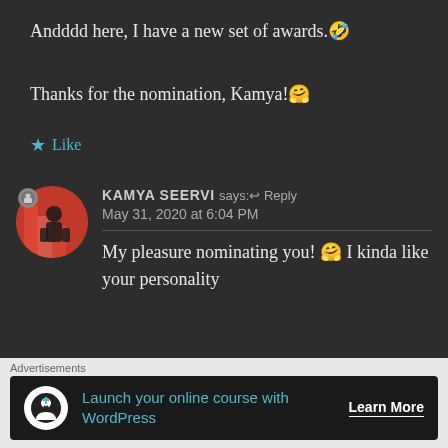Andddd here, I have a new set of awards.🤣
Thanks for the nomination, Kamya!🤗
★ Like
KAMYA SEERVI says:↩ Reply
May 31, 2020 at 6:04 PM
My pleasure nominating you! 🤗 I kinda like your personality
Advertisements
Launch your online course with WordPress   Learn More